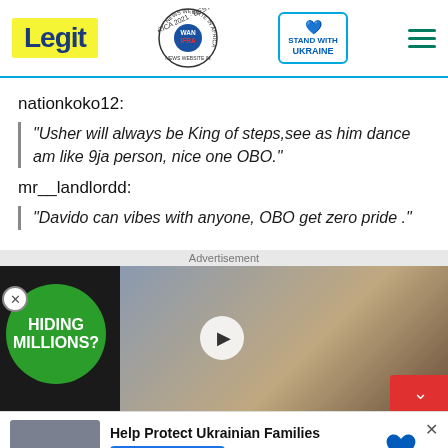Legit | WAN-IFRA 2021 Best News Website in Africa | Stand With Ukraine
nationkoko12:
"Usher will always be King of steps,see as him dance am like 9ja person, nice one OBO."
mr__landlordd:
"Davido can vibes with anyone, OBO get zero pride ."
[Figure (screenshot): Video advertisement showing two people with text 'HIDING MILLIONS?' on a green circle, with a play button overlay]
[Figure (infographic): Help Protect Ukrainian Families donation banner with DONATE NOW button and Ukrainian heart icon]